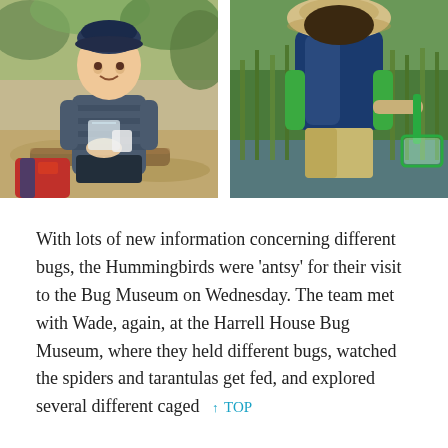[Figure (photo): Two side-by-side photos. Left: A young blond boy wearing a dark beret hat and striped long-sleeve shirt, standing outdoors in a wooded area, holding a small plastic bag and cup. A colorful backpack is visible at his feet. Right: An older child wearing a tan bucket hat and green shirt with a blue/black backpack, crouching by a stream or pond edge with lush green reeds, using a green net to explore the water.]
With lots of new information concerning different bugs, the Hummingbirds were 'antsy' for their visit to the Bug Museum on Wednesday. The team met with Wade, again, at the Harrell House Bug Museum, where they held different bugs, watched the spiders and tarantulas get fed, and explored several different caged ↑ TOP